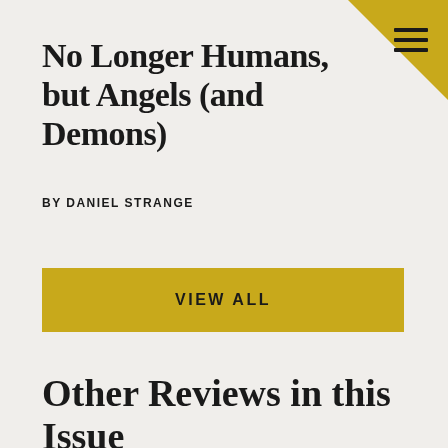No Longer Humans, but Angels (and Demons)
BY DANIEL STRANGE
VIEW ALL
Other Reviews in this Issue
MISSION AND CULTURE
[Figure (photo): Thumbnail image for a book or article review]